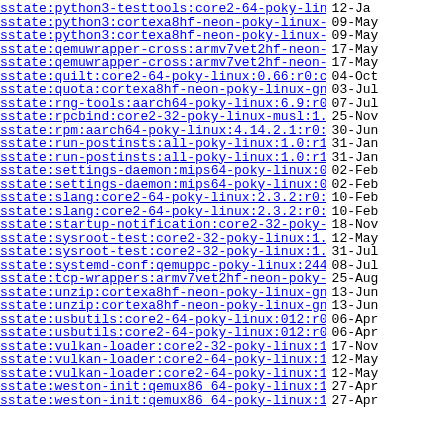sstate:python3-testtools:core2-64-poky-linux:2...> 12-Ja
sstate:python3:cortexa8hf-neon-poky-linux-gnuea..> 09-May
sstate:python3:cortexa8hf-neon-poky-linux-gnuea..> 09-May
sstate:qemuwrapper-cross:armv7vet2hf-neon-oe-li..> 17-May
sstate:qemuwrapper-cross:armv7vet2hf-neon-oe-li..> 17-May
sstate:quilt:core2-64-poky-linux:0.66:r0:core2-..> 04-Oct
sstate:quota:cortexa8hf-neon-poky-linux-gnueabi..> 03-Jul
sstate:rng-tools:aarch64-poky-linux:6.9:r0:aarc..> 07-Jul
sstate:rpcbind:core2-32-poky-linux-musl:1.2.5:r..> 25-Nov
sstate:rpm:aarch64-poky-linux:4.14.2.1:r0:aarch..> 30-Jun
sstate:run-postinsts:all-poky-linux:1.0:r10:all..> 31-Jan
sstate:run-postinsts:all-poky-linux:1.0:r10:all..> 31-Jan
sstate:settings-daemon:mips64-poky-linux:0.0.2:..> 02-Feb
sstate:settings-daemon:mips64-poky-linux:0.0.2:..> 02-Feb
sstate:slang:core2-64-poky-linux:2.3.2:r0:core2..> 10-Feb
sstate:slang:core2-64-poky-linux:2.3.2:r0:core2..> 10-Feb
sstate:startup-notification:core2-32-poky-linux..> 18-Nov
sstate:sysroot-test:core2-32-poky-linux:1.0:r0:..> 12-May
sstate:sysroot-test:core2-32-poky-linux:1.0:r0:..> 31-Jul
sstate:systemd-conf:qemuppc-poky-linux:244.3:r0..> 08-Jul
sstate:tcp-wrappers:armv7vet2hf-neon-poky-linux..> 25-Aug
sstate:unzip:cortexa8hf-neon-poky-linux-gnueabi..> 13-Jun
sstate:unzip:cortexa8hf-neon-poky-linux-gnueabi..> 13-Jun
sstate:usbutils:core2-64-poky-linux:012:r0:core..> 06-Apr
sstate:usbutils:core2-64-poky-linux:012:r0:core..> 06-Apr
sstate:vulkan-loader:core2-32-poky-linux:1.1.12..> 17-Nov
sstate:vulkan-loader:core2-64-poky-linux:1.1.12..> 12-May
sstate:vulkan-loader:core2-64-poky-linux:1.1.12..> 12-May
sstate:weston-init:qemux86_64-poky-linux:1.0:r0..> 27-Apr
sstate:weston-init:qemux86_64-poky-linux:1.0:r0..> 27-Apr